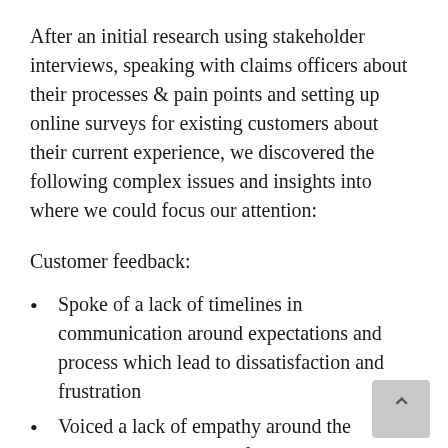After an initial research using stakeholder interviews, speaking with claims officers about their processes & pain points and setting up online surveys for existing customers about their current experience, we discovered the following complex issues and insights into where we could focus our attention:
Customer feedback:
Spoke of a lack of timelines in communication around expectations and process which lead to dissatisfaction and frustration
Voiced a lack of empathy around the process and customers felt the responses